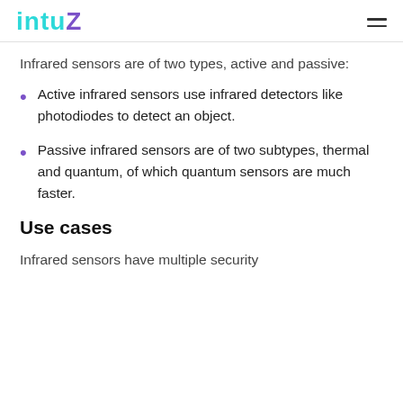intuz
Infrared sensors are of two types, active and passive:
Active infrared sensors use infrared detectors like photodiodes to detect an object.
Passive infrared sensors are of two subtypes, thermal and quantum, of which quantum sensors are much faster.
Use cases
Infrared sensors have multiple security